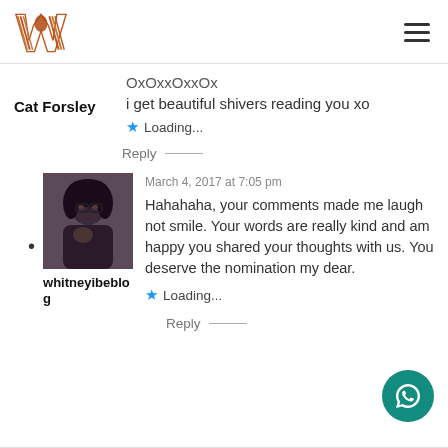Warriorette blog logo and hamburger menu
OxOxxOxxOx
i get beautiful shivers reading you xo
★ Loading...
Cat Forsley
Reply
March 4, 2017 at 7:05 pm
whitneyibeblog
Hahahaha, your comments made me laugh not smile. Your words are really kind and am happy you shared your thoughts with us. You deserve the nomination my dear.
★ Loading...
Reply